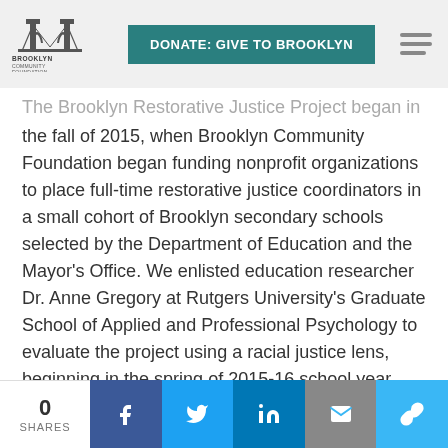[Figure (logo): Brooklyn Community Foundation logo with bridge icon and text]
DONATE: GIVE TO BROOKLYN
The Brooklyn Restorative Justice Project began in the fall of 2015, when Brooklyn Community Foundation began funding nonprofit organizations to place full-time restorative justice coordinators in a small cohort of Brooklyn secondary schools selected by the Department of Education and the Mayor's Office. We enlisted education researcher Dr. Anne Gregory at Rutgers University's Graduate School of Applied and Professional Psychology to evaluate the project using a racial justice lens, beginning in the spring of 2015-16 school year and concluding in the 2018-19 school year.
0 SHARES  [Facebook] [Twitter] [LinkedIn] [Email] [Link]